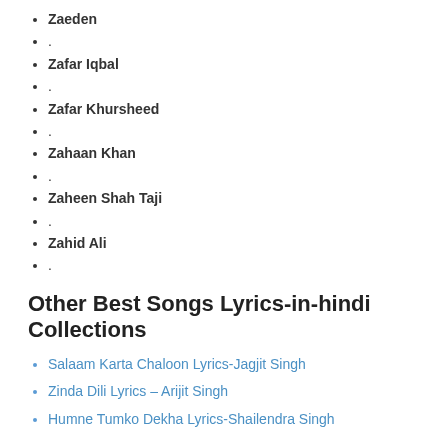Zaeden
.
Zafar Iqbal
.
Zafar Khursheed
.
Zahaan Khan
.
Zaheen Shah Taji
.
Zahid Ali
.
Other Best Songs Lyrics-in-hindi Collections
Salaam Karta Chaloon Lyrics-Jagjit Singh
Zinda Dili Lyrics – Arijit Singh
Humne Tumko Dekha Lyrics-Shailendra Singh